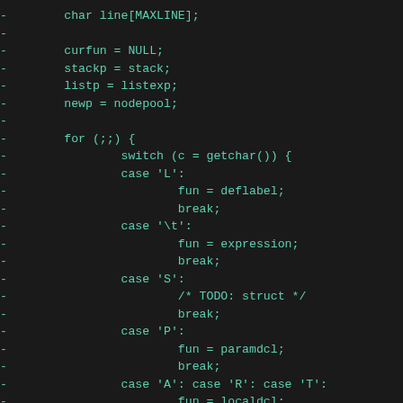Code diff snippet showing C code with lines starting with '-' marker, including variable declarations and switch statement with cases L, \t, S, P, A/R/T